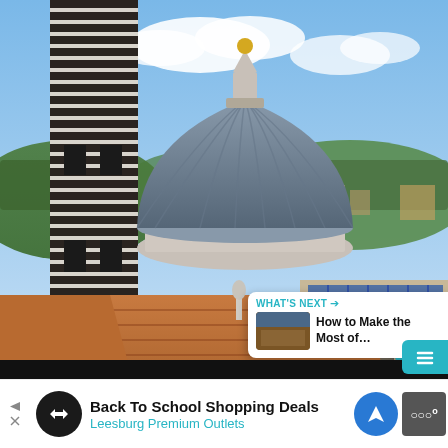[Figure (photo): Aerial view of Siena Cathedral (Duomo di Siena) showing the distinctive black-and-white striped bell tower, the large ribbed dome with lantern, terracotta tile roofs, Gothic arched windows, and Tuscan hills in the background under a partly cloudy sky. UI overlays visible: heart/favorite button (teal), share button, count bubble showing '2', and a 'WHAT'S NEXT' card showing 'How to Make the Most of...' with a thumbnail.]
2
WHAT'S NEXT → How to Make the Most of...
Back To School Shopping Deals
Leesburg Premium Outlets